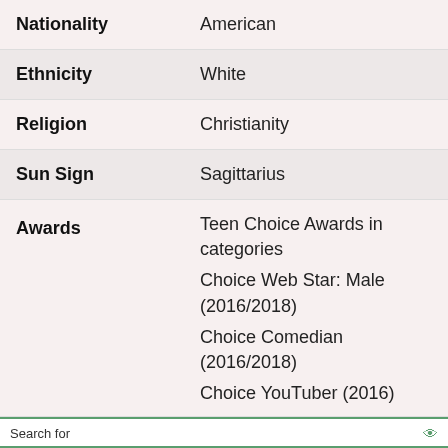| Field | Value |
| --- | --- |
| Nationality | American |
| Ethnicity | White |
| Religion | Christianity |
| Sun Sign | Sagittarius |
| Awards | Teen Choice Awards in categories Choice Web Star: Male (2016/2018) Choice Comedian (2016/2018) Choice YouTuber (2016) |
Search for
1. FREE MAKE UP KIT SAMPLES
2. LAS VEGAS SHOWS CHEAP
Yahoo! Search | Sponsored